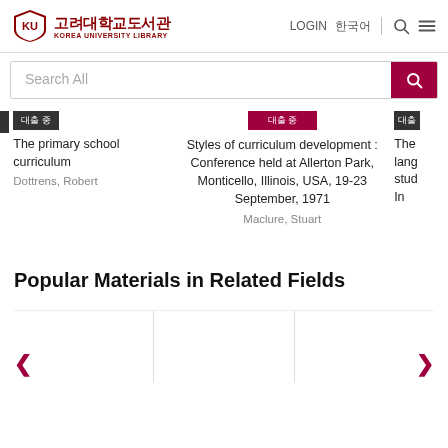[Figure (logo): Korea University Library logo with shield emblem and Korean/English text]
LOGIN  한국어
Search All
The primary school curriculum
Dottrens, Robert
Styles of curriculum development : Conference held at Allerton Park, Monticello, Illinois, USA, 19-23 September, 1971
Maclure, Stuart
The lang stud In
Popular Materials in Related Fields